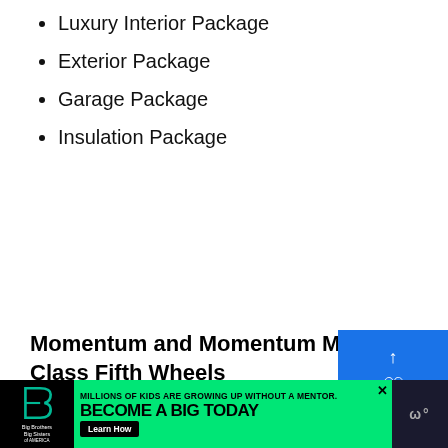Luxury Interior Package
Exterior Package
Garage Package
Insulation Package
Momentum and Momentum M-Class Fifth Wheels
[Figure (photo): Photo of Momentum M-Class Fifth Wheel RV, showing multiple units parked together with M-CLASS branding visible]
[Figure (screenshot): What's Next overlay showing a thumbnail and text 'Who Makes Winnebago...']
[Figure (screenshot): Social share widget with like/heart button showing count 2 and share icon]
MILLIONS OF KIDS ARE GROWING UP WITHOUT A MENTOR. BECOME A BIG TODAY
Learn How